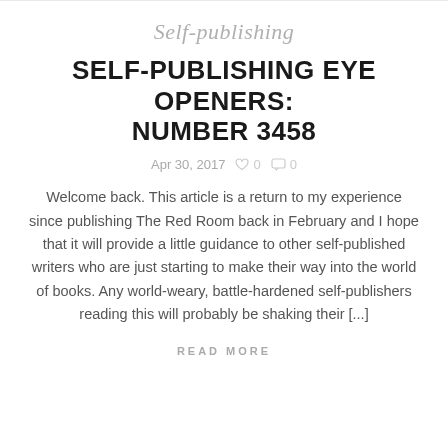Self-publishing
SELF-PUBLISHING EYE OPENERS: NUMBER 3458
Apr 30, 2017   ♡ 0   💬 0
Welcome back. This article is a return to my experience since publishing The Red Room back in February and I hope that it will provide a little guidance to other self-published writers who are just starting to make their way into the world of books. Any world-weary, battle-hardened self-publishers reading this will probably be shaking their [...]
READ MORE